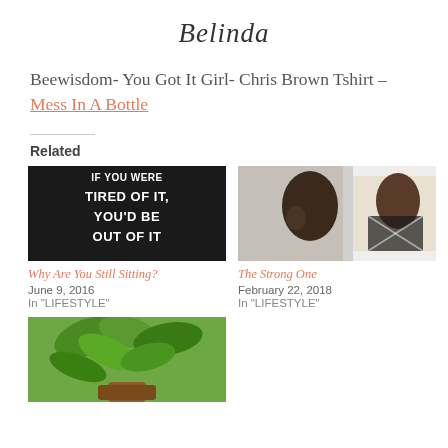Belinda
Beewisdom- You Got It Girl- Chris Brown Tshirt – Mess In A Bottle
Related
[Figure (photo): Black background with white bold text reading: IF YOU WERE TIRED OF IT, YOU'D BE OUT OF IT]
Why Are You Still Sitting?
June 9, 2016
In "LIFESTYLE"
[Figure (photo): Woman looking at her reflection in a mirror, smiling, wearing a black and white patterned top]
The Strong One
February 22, 2018
In "LIFESTYLE"
[Figure (photo): Green leafy plant in a pot]